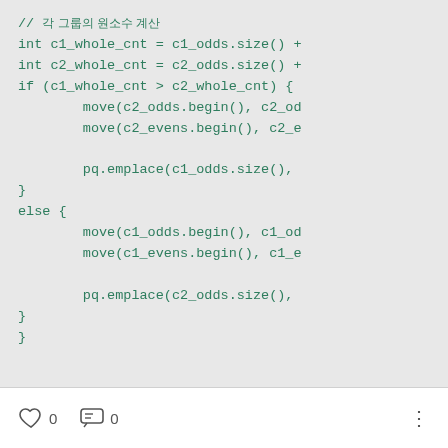[Figure (screenshot): Code snippet in a monospace font showing C++ code with comments in Korean characters, if/else block with move and pq.emplace calls. Code is partially cut off on the right side.]
0  0  :